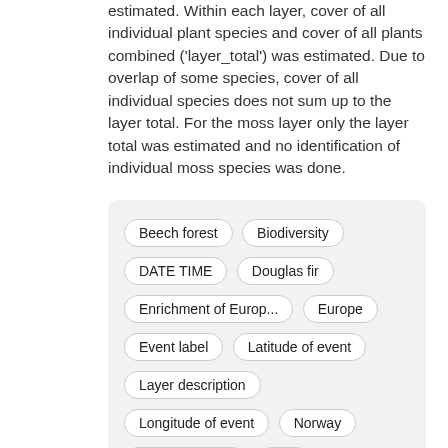estimated. Within each layer, cover of all individual plant species and cover of all plants combined ('layer_total') was estimated. Due to overlap of some species, cover of all individual species does not sum up to the layer total. For the moss layer only the layer total was estimated and no identification of individual moss species was done.
Beech forest, Biodiversity, DATE TIME, Douglas fir, Enrichment of Europ..., Europe, Event label, Latitude of event, Layer description, Longitude of event, Norway, Norway spruce, Plot, RTG2300 I, Species, Vegetation, Visual identification, Visually estimated, according to Braun ..., cover, forest